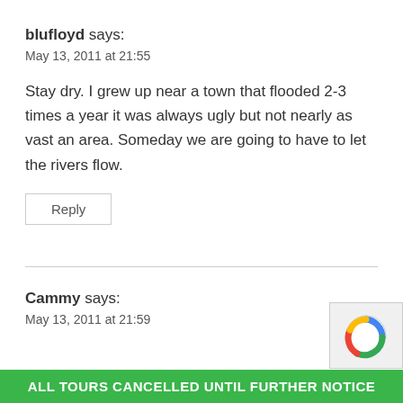blufloyd says:
May 13, 2011 at 21:55
Stay dry. I grew up near a town that flooded 2-3 times a year it was always ugly but not nearly as vast an area. Someday we are going to have to let the rivers flow.
Reply
Cammy says:
May 13, 2011 at 21:59
ALL TOURS CANCELLED UNTIL FURTHER NOTICE